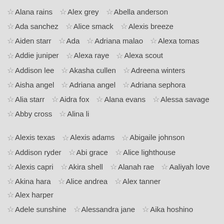Alana rains  Alex grey  Abella anderson
Ada sanchez  Alice smack  Alexis breeze
Aiden starr  Ada  Adriana malao  Alexa tomas
Addie juniper  Alexa raye  Alexa scout
Addison lee  Akasha cullen  Adreena winters
Aisha angel  Adriana angel  Adriana sephora
Alia starr  Aidra fox  Alana evans  Alessa savage
Abby cross  Alina li
Alexis texas  Alexis adams  Abigaile johnson
Addison ryder  Abi grace  Alice lighthouse
Alexis capri  Akira shell  Alanah rae  Aaliyah love
Akina hara  Alice andrea  Alex tanner  Alex harper
Adele sunshine  Alessandra jane  Aika hoshino